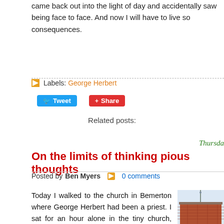came back out into the light of day and accidentally saw being face to face. And now I will have to live so consequences.
Labels: George Herbert
Tweet  Share
Related posts:
Thursday
On the limits of thinking pious thoughts
Posted by Ben Myers  0 comments
Today I walked to the church in Bemerton where George Herbert had been a priest. I sat for an hour alone in the tiny church, reading from a book of Herbert's poems, kneeling to pray, carrying on a private little
[Figure (photo): Photo of a brick church building with a rooftop visible against a light sky]